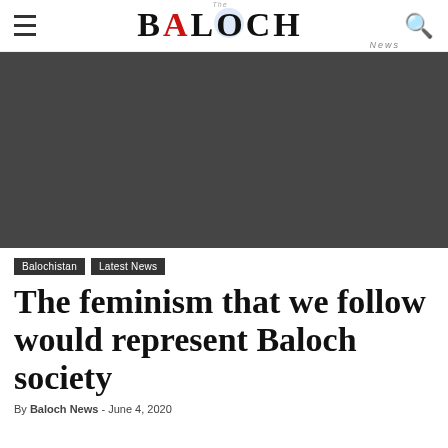The Baloch News
[Figure (photo): Dark hero image placeholder (article featured image, mostly dark gray/black background)]
Balochistan
Latest News
The feminism that we follow would represent Baloch society
By Baloch News - June 4, 2020